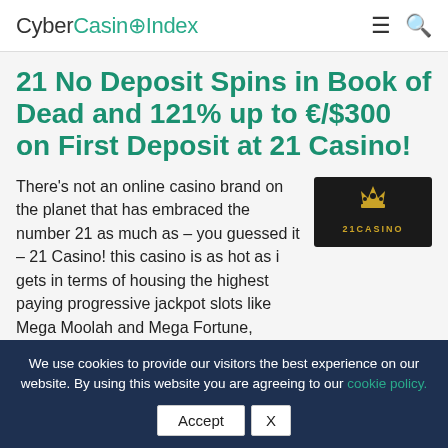CyberCasinoIndex
21 No Deposit Spins in Book of Dead and 121% up to €/$300 on First Deposit at 21 Casino!
[Figure (logo): 21 Casino logo with crown icon on dark background, text '21CASINO' in gold]
There's not an online casino brand on the planet that has embraced the number 21 as much as – you guessed it – 21 Casino! this casino is as hot as i gets in terms of housing the highest paying progressive jackpot slots like Mega Moolah and Mega Fortune, housing an
We use cookies to provide our visitors the best experience on our website. By using this website you are agreeing to our cookie policy.